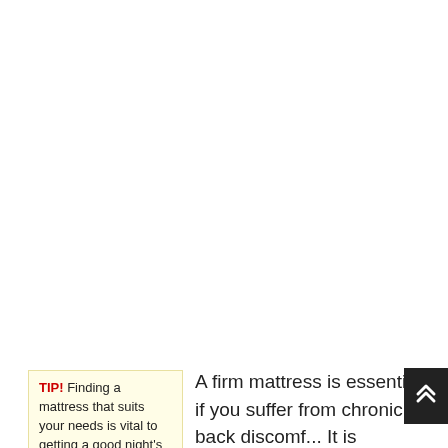TIP! Finding a mattress that suits your needs is vital to getting a good night's sleep. It...
A firm mattress is essential if you suffer from chronic back discomfort. It is generally agreed that very soft...